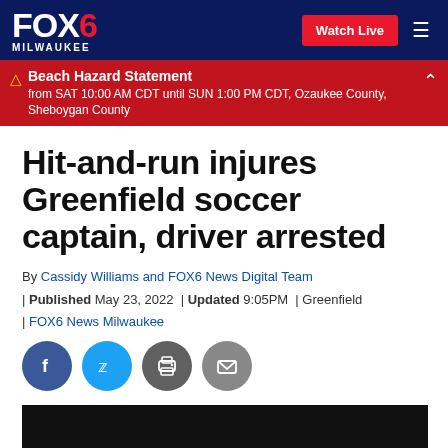FOX6 MILWAUKEE | Watch Live
Beach Hazard Statement from SAT 10:00 AM CDT until SUN 1:00 PM CDT, Ozaukee County, Sheboygan County
Hit-and-run injures Greenfield soccer captain, driver arrested
By Cassidy Williams and FOX6 News Digital Team | Published May 23, 2022 | Updated 9:05PM | Greenfield | FOX6 News Milwaukee
[Figure (screenshot): Social sharing buttons: Facebook, Twitter, Print, Email]
[Figure (photo): Video player placeholder, dark background]